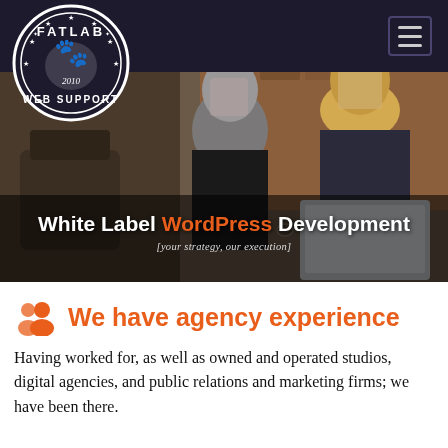[Figure (logo): FATLAB Web Support circular logo with dog/animal illustration, established 2010, white on dark background]
[Figure (photo): Two women working together looking at a laptop in an office/cafe setting with brick wall background, faces blurred]
White Label WordPress Development [your strategy, our execution]
We have agency experience
Having worked for, as well as owned and operated studios, digital agencies, and public relations and marketing firms; we have been there.